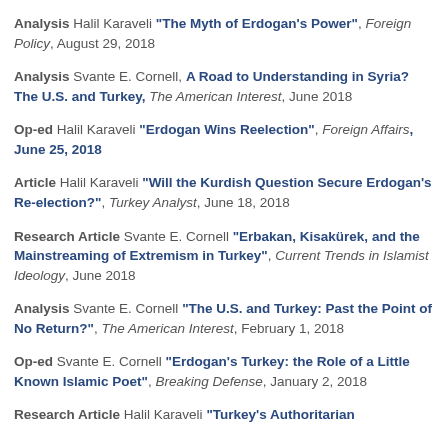Analysis Halil Karaveli "The Myth of Erdogan's Power", Foreign Policy, August 29, 2018
Analysis Svante E. Cornell, A Road to Understanding in Syria? The U.S. and Turkey, The American Interest, June 2018
Op-ed Halil Karaveli "Erdogan Wins Reelection", Foreign Affairs, June 25, 2018
Article Halil Karaveli "Will the Kurdish Question Secure Erdogan's Re-election?", Turkey Analyst, June 18, 2018
Research Article Svante E. Cornell "Erbakan, Kisakürek, and the Mainstreaming of Extremism in Turkey", Current Trends in Islamist Ideology, June 2018
Analysis Svante E. Cornell "The U.S. and Turkey: Past the Point of No Return?", The American Interest, February 1, 2018
Op-ed Svante E. Cornell "Erdogan's Turkey: the Role of a Little Known Islamic Poet", Breaking Defense, January 2, 2018
Research Article Halil Karaveli "Turkey's Authoritarian...